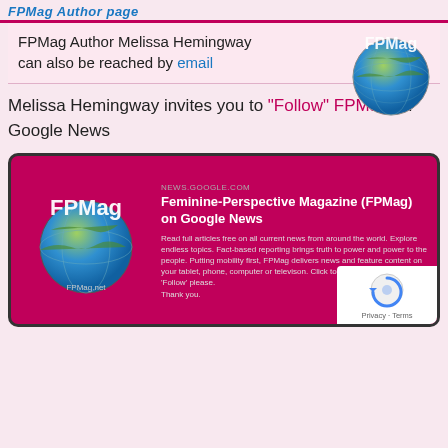FPMag Author page
FPMag Author Melissa Hemingway can also be reached by email
[Figure (logo): FPMag globe logo with text FPMag on a globe]
Melissa Hemingway invites you to "Follow" FPMag on Google News
[Figure (screenshot): Google News card for Feminine-Perspective Magazine (FPMag) on Google News. Source: NEWS.GOOGLE.COM. Description: Read full articles free on all current news from around the world. Explore endless topics. Fact-based reporting brings truth to power and power to the people. Putting mobility first, FPMag delivers news and feature content on your tablet, phone, computer or television. Click to view and choose to 'Follow' please. Thank you.]